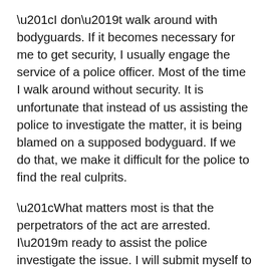“I don’t walk around with bodyguards. If it becomes necessary for me to get security, I usually engage the service of a police officer. Most of the time I walk around without security. It is unfortunate that instead of us assisting the police to investigate the matter, it is being blamed on a supposed bodyguard. If we do that, we make it difficult for the police to find the real culprits.
“What matters most is that the perpetrators of the act are arrested. I’m ready to assist the police investigate the issue. I will submit myself to the police to ensure that justice prevails but if we start accusing people, it wouldn’t help. Not until this issue came, I didn’t know about his social media activities,” he said.
Accusing fingers are being pointed at Salisu Bamba for the death of Kaaka, with critics alleging the persons who pummeled Kaaka on June 25, 2021 were his security.